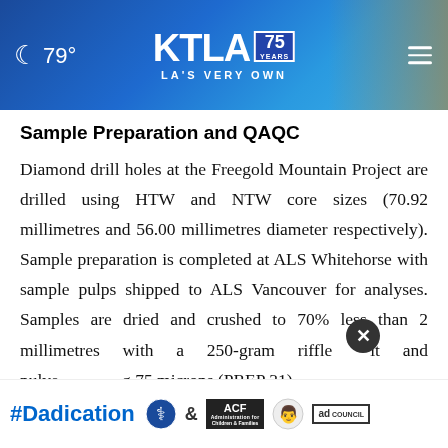79° KTLA 75 YEARS LA'S VERY OWN
Sample Preparation and QAQC
Diamond drill holes at the Freegold Mountain Project are drilled using HTW and NTW core sizes (70.92 millimetres and 56.00 millimetres diameter respectively). Sample preparation is completed at ALS Whitehorse with sample pulps shipped to ALS Vancouver for analyses. Samples are dried and crushed to 70% less than 2 millimetres with a 250-gram riffle split and pulverized to 85% passing 75 microns (PREP 31)
[Figure (other): Advertisement banner for #Dadication campaign featuring HHS, ACF, and Ad Council logos]